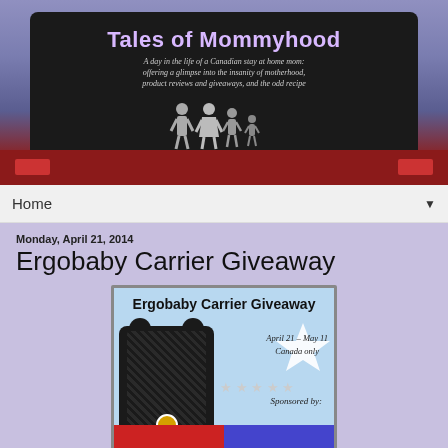Tales of Mommyhood - A day in the life of a Canadian stay at home mom: offering a glimpse into the insanity of motherhood, product reviews and giveaways, and the odd recipe
Home ▼
Monday, April 21, 2014
Ergobaby Carrier Giveaway
[Figure (photo): Ergobaby Carrier Giveaway promotional image showing a black patterned baby carrier on a light blue background with text: 'Ergobaby Carrier Giveaway', 'April 21 - May 11', 'Canada only', 'Sponsored by:' and sponsor logos at the bottom]